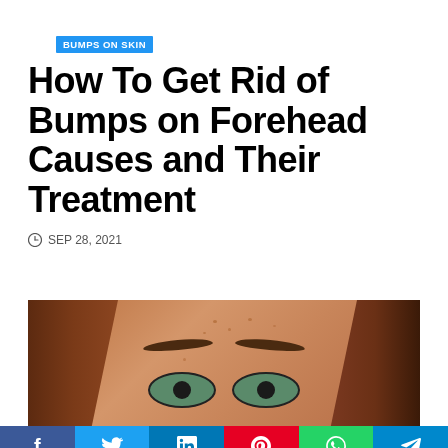BUMPS ON SKIN
How To Get Rid of Bumps on Forehead Causes and Their Treatment
SEP 28, 2021
[Figure (photo): Close-up photo of a young woman with red hair and green eyes, showing her forehead with small bumps/freckles]
f  t  in  P  (whatsapp)  (telegram)